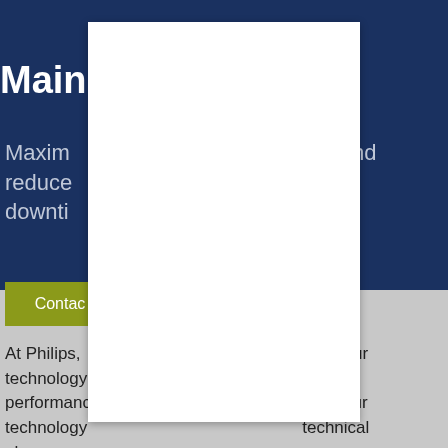Main
Maximize and reduce downtime
Contact
At Philips, for your technology performance ng your technology technical phone supp n resolution directly from experts with deep clinical insights.
[Figure (other): White overlay card/modal covering the center of the page]